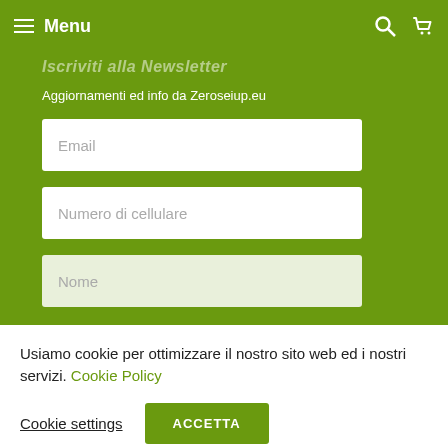Menu
Iscriviti alla Newsletter
Aggiornamenti ed info da Zeroseiup.eu
Email
Numero di cellulare
Nome
Usiamo cookie per ottimizzare il nostro sito web ed i nostri servizi. Cookie Policy
Cookie settings
ACCETTA
Cookie Policy